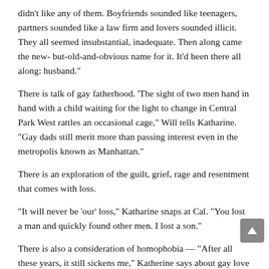didn't like any of them. Boyfriends sounded like teenagers, partners sounded like a law firm and lovers sounded illicit. They all seemed insubstantial, inadequate. Then along came the new- but-old-and-obvious name for it. It'd been there all along: husband."
There is talk of gay fatherhood. 'The sight of two men hand in hand with a child waiting for the light to change in Central Park West rattles an occasional cage," Will tells Katharine. "Gay dads still merit more than passing interest even in the metropolis known as Manhattan."
There is an exploration of the guilt, grief, rage and resentment that comes with loss.
“It will never be ‘our’ loss,” Katharine snaps at Cal. “You lost a man and quickly found other men. I lost a son.”
There is also a consideration of homophobia — “After all these years, it still sickens me,” Katherine says about gay love – and whether there is any possibility of change and reconciliation.
All four performers are first-rate, and do what they can to